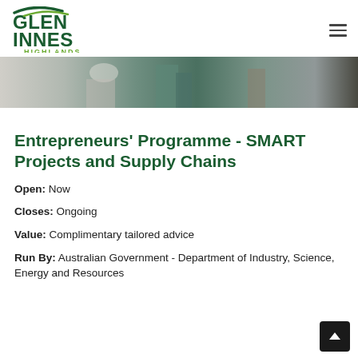Glen Innes Highlands
[Figure (photo): Partial photo of people in a workshop or office setting, cropped at the top]
Entrepreneurs' Programme - SMART Projects and Supply Chains
Open: Now
Closes: Ongoing
Value: Complimentary tailored advice
Run By: Australian Government - Department of Industry, Science, Energy and Resources